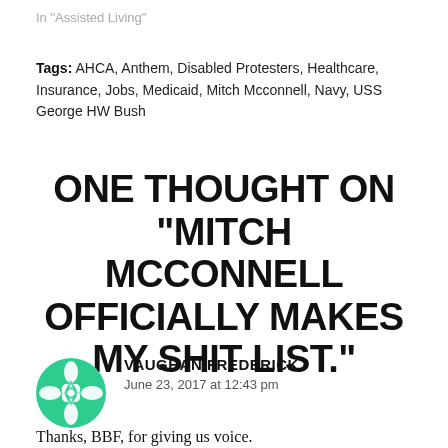In "Assisted Living"
Tags: AHCA, Anthem, Disabled Protesters, Healthcare, Insurance, Jobs, Medicaid, Mitch Mcconnell, Navy, USS George HW Bush
ONE THOUGHT ON “MITCH MCCONNELL OFFICIALLY MAKES MY SHIT LIST.”
VAUGHAN FREDERICK
June 23, 2017 at 12:43 pm
Thanks, BBF, for giving us voice.